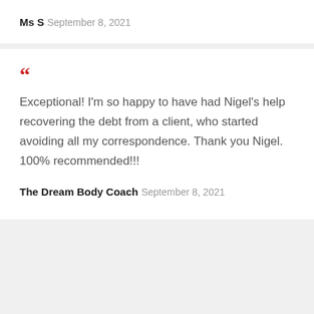Ms S
September 8, 2021
Exceptional! I'm so happy to have had Nigel's help recovering the debt from a client, who started avoiding all my correspondence. Thank you Nigel. 100% recommended!!!
The Dream Body Coach
September 8, 2021